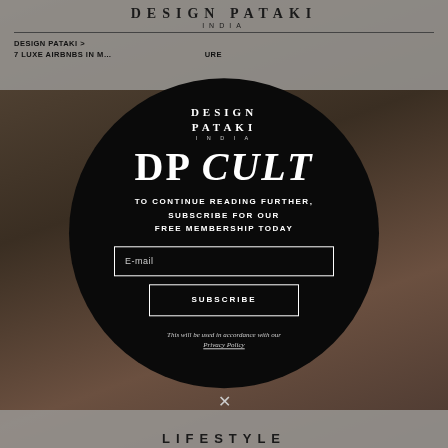DESIGN PATAKI INDIA
DESIGN PATAKI > 7 LUXE AIRBNBS IN M... URE
[Figure (screenshot): Background photo of a cozy library/reading room with bookshelves, warm lighting, vintage furniture and colorful books. Dimmed/darkened as modal background.]
[Figure (logo): Design Pataki India circular modal overlay containing subscription call-to-action. Logo at top reads DESIGN PATAKI INDIA. Large text DP CULT. Subscribe form with email input and subscribe button. Privacy policy note at bottom.]
DP CULT
TO CONTINUE READING FURTHER, SUBSCRIBE FOR OUR FREE MEMBERSHIP TODAY
E-mail
SUBSCRIBE
This will be used in accordance with our Privacy Policy
LIFESTYLE